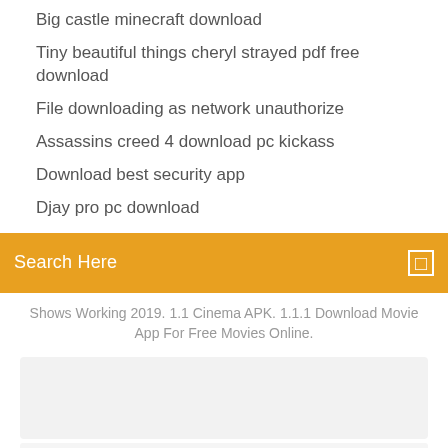Big castle minecraft download
Tiny beautiful things cheryl strayed pdf free download
File downloading as network unauthorize
Assassins creed 4 download pc kickass
Download best security app
Djay pro pc download
Search Here
Shows Working 2019. 1.1 Cinema APK. 1.1.1 Download Movie App For Free Movies Online.
[Figure (screenshot): Empty gray screenshot placeholder area]
Download Minecraft PE for Android or iOS free the latest version you can hier. This is the best game for you mobile. Search. MCPE-Monster.com Home Download Minecraft PE 1.14 Download Blockchain...